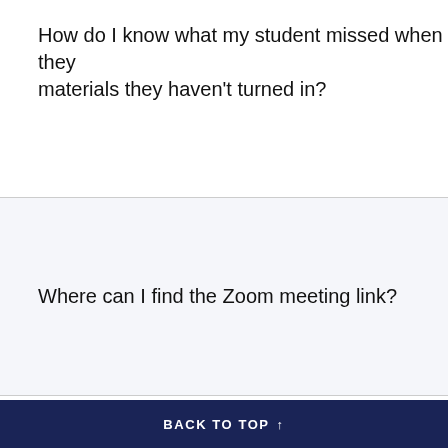How do I know what my student missed when they materials they haven't turned in?
Where can I find the Zoom meeting link?
How can I view the calendar and assignments?
BACK TO TOP ↑